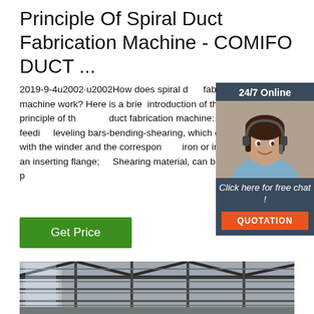Principle Of Spiral Duct Fabrication Machine - COMIFO DUCT ...
2019-9-4u2002·u2002How does spiral duct fabrication machine work? Here is a brief introduction of the working principle of the duct fabrication machine: 1.Coiling-feeding leveling bars-bending-shearing, which can be fitted with the winder and the corresponding iron or insert to form an inserting flange; 2. Shearing material, can be used with a pl
[Figure (other): Get Price green button]
[Figure (other): 24/7 Online chat widget with customer service representative photo, Click here for free chat!, QUOTATION button]
[Figure (photo): Industrial factory or warehouse interior with steel roof structure]